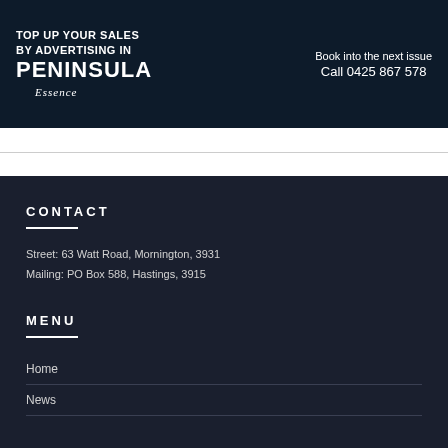[Figure (infographic): Advertisement banner for Peninsula Essence magazine on dark navy background. Text: 'TOP UP YOUR SALES BY ADVERTISING IN PENINSULA Essence' on the left. On the right: 'Book into the next issue Call 0425 867 578']
CONTACT
Street: 63 Watt Road, Mornington, 3931
Mailing: PO Box 588, Hastings, 3915
MENU
Home
News